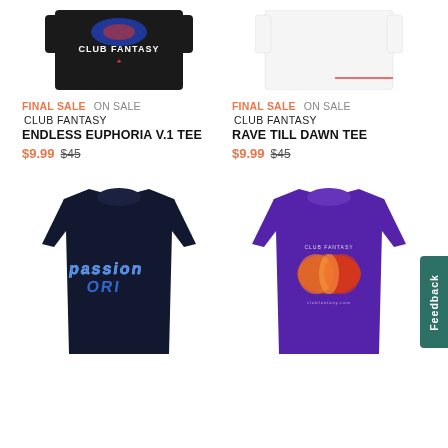[Figure (photo): Partial view of black Club Fantasy t-shirt with logo graphic at top of page]
[Figure (photo): Partial view of white t-shirt with red detail at top of page]
FINAL SALE  ON SALE
CLUB FANTASY
ENDLESS EUPHORIA V.1 TEE
$9.99  $45
FINAL SALE  ON SALE
CLUB FANTASY
RAVE TILL DAWN TEE
$9.99  $45
[Figure (photo): Navy blue Club Fantasy t-shirt with blue chrome style graphic text on front]
[Figure (photo): Purple Club Fantasy t-shirt with colorful circular graphic on front]